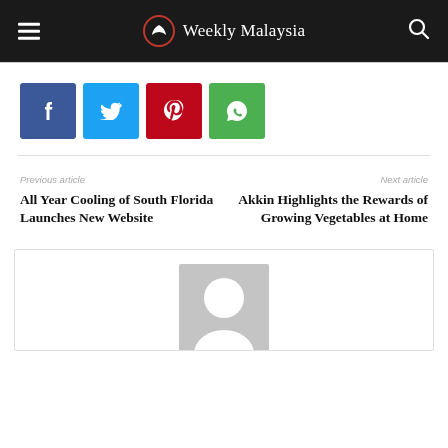Weekly Malaysia
[Figure (infographic): Social share buttons: Facebook (blue), Twitter (light blue), Pinterest (red), WhatsApp (green)]
Previous article
All Year Cooling of South Florida Launches New Website
Next article
Akkin Highlights the Rewards of Growing Vegetables at Home
[Figure (photo): Author avatar placeholder — grey square with a white silhouette person icon]